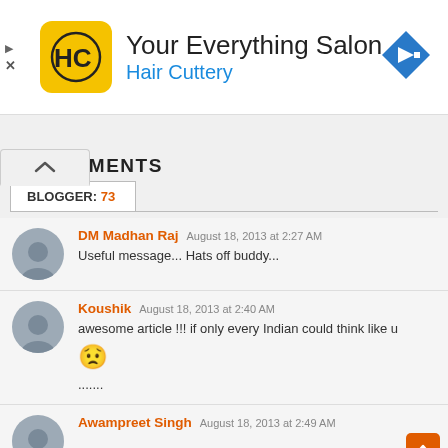[Figure (logo): Hair Cuttery ad banner with HC logo, title 'Your Everything Salon', subtitle 'Hair Cuttery', and a blue navigation arrow icon]
💬 COMMENTS
BLOGGER: 73
DM Madhan Raj  August 18, 2013 at 2:27 AM
Useful message... Hats off buddy...
Koushik  August 18, 2013 at 2:40 AM
awesome article !!! if only every Indian could think like u 😟
.......
Awampreet Singh  August 18, 2013 at 2:49 AM